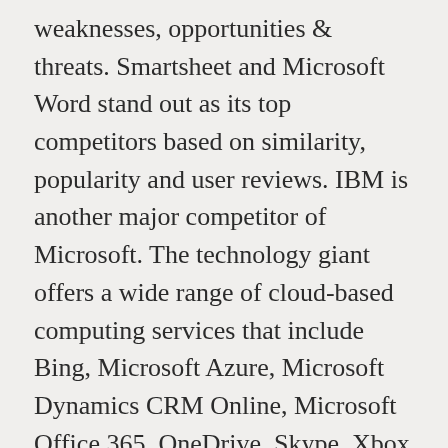weaknesses, opportunities & threats. Smartsheet and Microsoft Word stand out as its top competitors based on similarity, popularity and user reviews. IBM is another major competitor of Microsoft. The technology giant offers a wide range of cloud-based computing services that include Bing, Microsoft Azure, Microsoft Dynamics CRM Online, Microsoft Office 365, OneDrive, Skype, Xbox Live, and Yammer. "2019 Annual Report." Accessed Apr. "Linux vs. Windows: Abstract." Google Docs has the most reviews with a total of 23,670, while Microsoft Excel has 14,785. When comparing Microsoft Excel to its top 100 alternatives, Qualityze Audit System has the